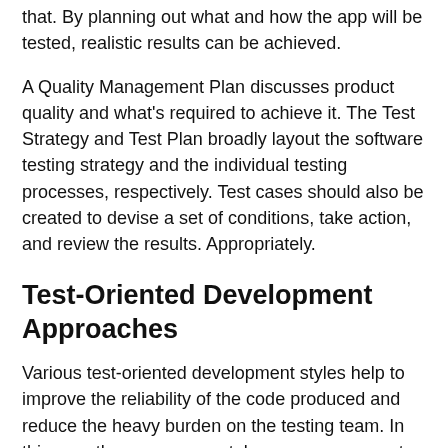that. By planning out what and how the app will be tested, realistic results can be achieved.
A Quality Management Plan discusses product quality and what's required to achieve it. The Test Strategy and Test Plan broadly layout the software testing strategy and the individual testing processes, respectively. Test cases should also be created to devise a set of conditions, take action, and review the results. Appropriately.
Test-Oriented Development Approaches
Various test-oriented development styles help to improve the reliability of the code produced and reduce the heavy burden on the testing team. In this way, the programmer takes on some aspects of the QA testing themselves albeit in a far less controlled or systematic